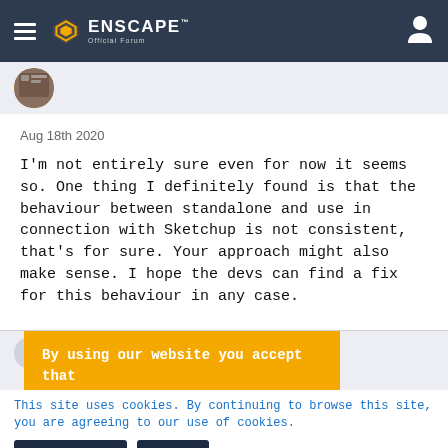Enscape Official Forum
Aug 18th 2020
I'm not entirely sure even for now it seems so. One thing I definitely found is that the behaviour between standalone and use in connection with Sketchup is not consistent, that's for sure. Your approach might also make sense. I hope the devs can find a fix for this behaviour in any case.
[Figure (other): Orange cookie consent banner: 'By using our website you accept that we use cookies to track usage and improve the relevancy of ads and mou']
This site uses cookies. By continuing to browse this site, you are agreeing to our use of cookies.